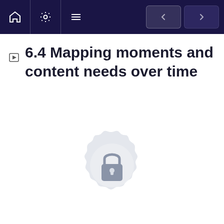Navigation bar with home, settings, menu icons and previous/next buttons
6.4 Mapping moments and content needs over time
[Figure (illustration): A locked padlock icon centered on a decorative circular badge/seal shape, rendered in light gray, indicating locked/premium content]